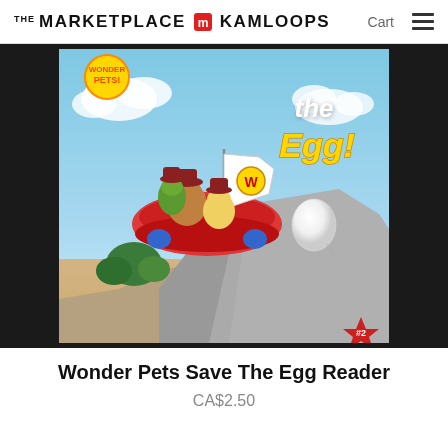THE MARKETPLACE IN KAMLOOPS   Cart ☰
[Figure (photo): Book cover of 'Wonder Pets Save The Egg' showing animated characters (guinea pig, duck, and turtle) riding a flying vehicle above rocky terrain with a large egg nearby, on a blue sky background. Text on cover reads 'the Egg!' in yellow. A red star badge with '#2' is in the bottom right corner.]
Wonder Pets Save The Egg Reader
CA$2.50